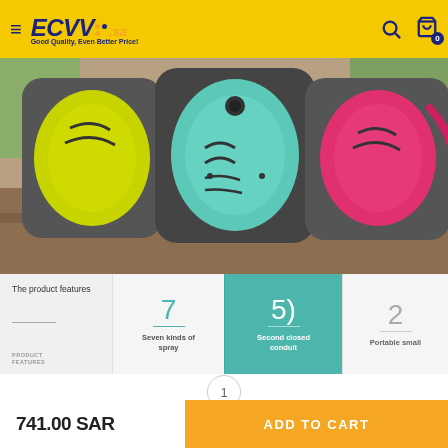ECVV.sa — Good Quality, Even Better Price!
[Figure (photo): Three colorful compact hose reel devices (yellow, teal/mint, and red/pink) with grey bodies placed side by side on a wooden surface outdoors.]
The product features
7
Seven kinds of spray
5)
Second closed conduit
2
Portable small
PRODUCT FEATURES
1
741.00 SAR
ADD TO CART